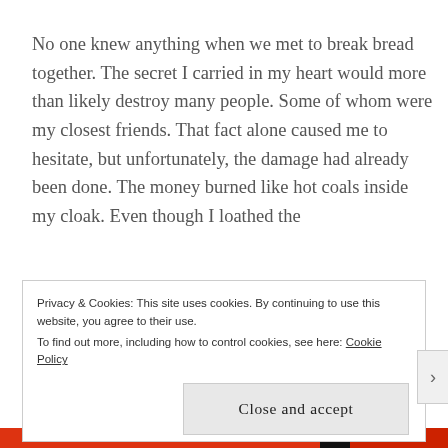No one knew anything when we met to break bread together. The secret I carried in my heart would more than likely destroy many people. Some of whom were my closest friends. That fact alone caused me to hesitate, but unfortunately, the damage had already been done. The money burned like hot coals inside my cloak. Even though I loathed the
Privacy & Cookies: This site uses cookies. By continuing to use this website, you agree to their use.
To find out more, including how to control cookies, see here: Cookie Policy
Close and accept